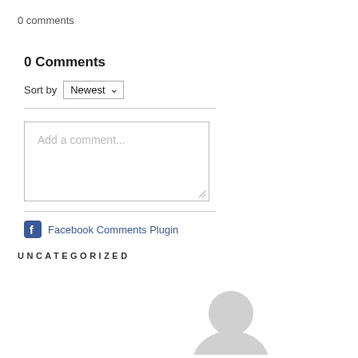0 comments
0 Comments
Sort by Newest
[Figure (screenshot): Comment text input box with placeholder text 'Add a comment...' and a resize handle in the bottom-right corner]
Facebook Comments Plugin
UNCATEGORIZED
[Figure (illustration): Partial gray avatar/user icon silhouette at bottom of page]